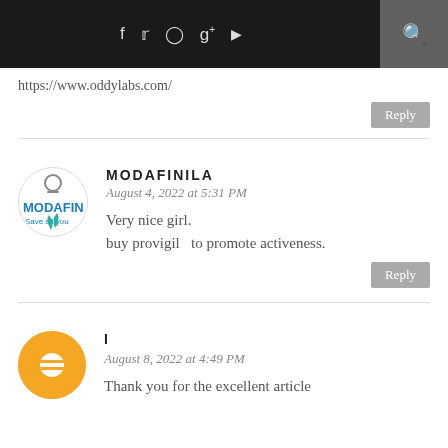f  ‌  ‌  g+  ▶  🔍
https://www.oddylabs.com/
Reply
MODAFINILA
August 4, 2022 at 5:31 PM
Very nice girl.
buy provigil  to promote activeness.
Reply
I 🀰🀰
August 8, 2022 at 4:49 PM
Thank you for the excellent article